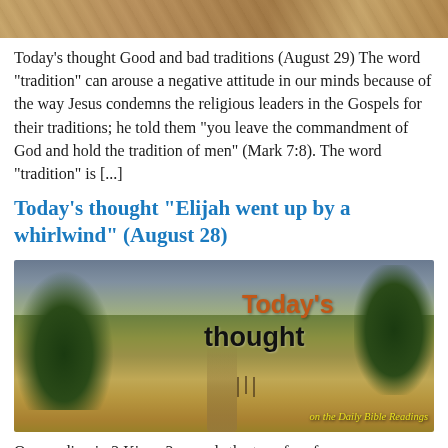[Figure (photo): Top portion of a sandy/desert landscape image, cropped at top of page]
Today’s thought Good and bad traditions (August 29) The word “tradition” can arouse a negative attitude in our minds because of the way Jesus condemns the religious leaders in the Gospels for their traditions; he told them “you leave the commandment of God and hold the tradition of men” (Mark 7:8). The word “tradition” is […]
Today’s thought “Elijah went up by a whirlwind” (August 28)
[Figure (photo): Countryside landscape with trees, a dirt path, and golden fields. Overlaid text reads 'Today’s' in orange, 'thought' in black bold, and 'on the Daily Bible Readings' in yellow italic at bottom right.]
Our reading in 2 Kings 2 records the transfer of